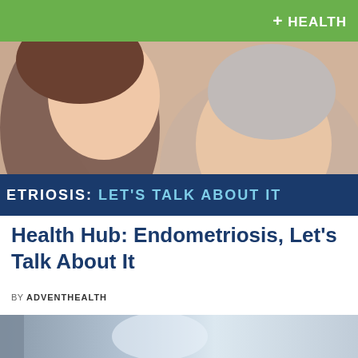[Figure (photo): Two women smiling and laughing together — a young woman and an older woman with short grey hair — with a green header bar and '+HEALTH' branding logo in top right corner, and a dark blue banner at the bottom of the image reading 'ETRIOSIS: LET'S TALK ABOUT IT']
Health Hub: Endometriosis, Let's Talk About It
BY ADVENTHEALTH
[Figure (photo): Partial bottom image — blurred background of a medical or office setting with soft blue and grey tones]